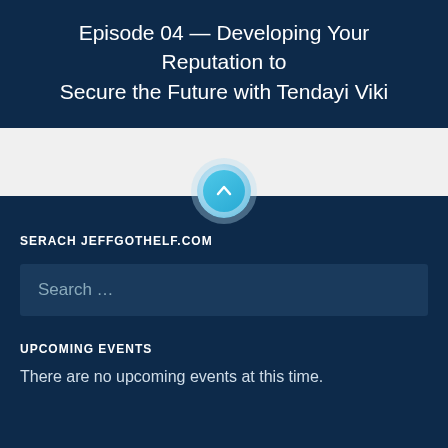Episode 04 — Developing Your Reputation to Secure the Future with Tendayi Viki
[Figure (other): Scroll-to-top button: a cyan/light-blue circular button with an upward arrow icon, partially overlapping the boundary between the white section and the dark blue footer section]
SERACH JEFFGOTHELF.COM
Search ...
UPCOMING EVENTS
There are no upcoming events at this time.